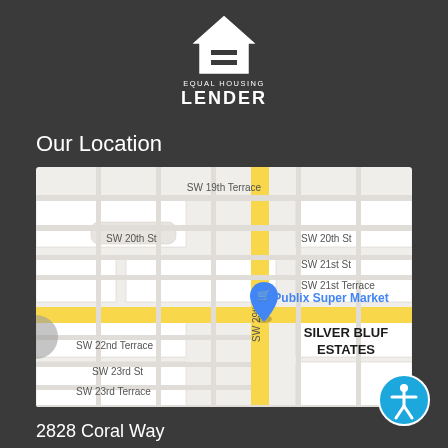[Figure (logo): Equal Housing Lender logo — white house outline with equals sign, text EQUAL HOUSING above LENDER]
Our Location
[Figure (map): Google Maps screenshot showing streets around 2828 Coral Way, Miami FL 33145 — Silver Bluff Estates neighborhood, SW 19th Terrace, SW 20th St, SW 21st St, SW 22nd Terrace, SW 23rd St, SW 24th St, SW 29th Ave, Publix Super Market label, blue location pin]
2828 Coral Way
Miami, Florida 33145